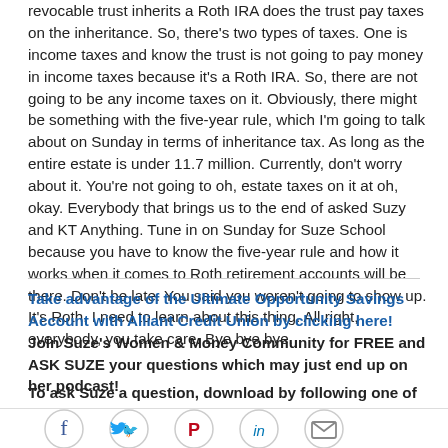revocable trust inherits a Roth IRA does the trust pay taxes on the inheritance. So, there's two types of taxes. One is income taxes and know the trust is not going to pay money in income taxes because it's a Roth IRA. So, there are not going to be any income taxes on it. Obviously, there might be something with the five-year rule, which I'm going to talk about on Sunday in terms of inheritance tax. As long as the entire estate is under 11.7 million. Currently, don't worry about it. You're not going to oh, estate taxes on it at oh, okay. Everybody that brings us to the end of asked Suzy and KT Anything. Tune in on Sunday for Suze School because you have to know the five-year rule and how it works when it comes to Roth retirement accounts will be there. Don't be late. You said you weren't going to show up. It's Roth. I need to learn about this thing. All right, everybody, you take care. Bye bye bye.
Take advantage of the Ultimate Opportunity Savings Account with Alliant Credit Union by clicking here!
Join Suze's Women & Money Community for FREE and ASK SUZE your questions which may just end up on her podcast!
To ask Suze a question, download by following one of these links:
[Figure (infographic): Social media icon bar with Facebook (blue circle), Twitter (light blue circle), Pinterest (red circle), LinkedIn (blue circle), Email (grey circle) icons]